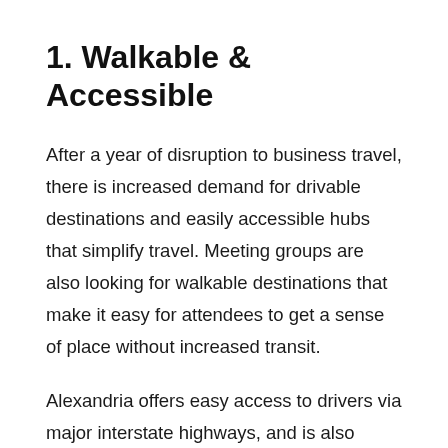1. Walkable & Accessible
After a year of disruption to business travel, there is increased demand for drivable destinations and easily accessible hubs that simplify travel. Meeting groups are also looking for walkable destinations that make it easy for attendees to get a sense of place without increased transit.
Alexandria offers easy access to drivers via major interstate highways, and is also located minutes from Reagan National Airport. It boasts four Metrorail stations, Amtrak service